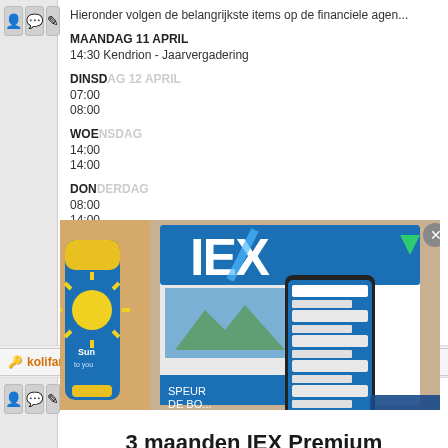Hieronder volgen de belangrijkste items op de financiele agen...
MAANDAG 11 APRIL
14:30 Kendrion - Jaarvergadering
DINSDAG 12 APRIL
07:00 ...
08:00 ...
WOENSDAG
14:00 ...
14:00 ...
DONDERDAG
08:00 ...
14:00 ...
14:00 ...
17:30 ...
VRIJDAG
17:30 ...
[Figure (illustration): IEX Premium advertisement showing sunscreen, IEX magazine, smartphone and sunglasses on sand background. Text: '3 maanden IEX Premium voor slechts 19,95' with green 'Profiteer nu' button.]
kolifant 11 april 2016 16:00